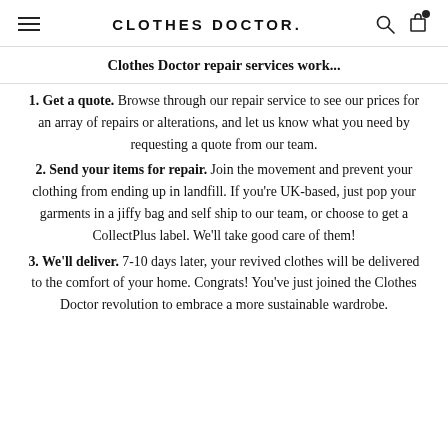CLOTHES DOCTOR.
Clothes Doctor repair services work...
1. Get a quote. Browse through our repair service to see our prices for an array of repairs or alterations, and let us know what you need by requesting a quote from our team.
2. Send your items for repair. Join the movement and prevent your clothing from ending up in landfill. If you're UK-based, just pop your garments in a jiffy bag and self ship to our team, or choose to get a CollectPlus label. We'll take good care of them!
3. We'll deliver. 7-10 days later, your revived clothes will be delivered to the comfort of your home. Congrats! You've just joined the Clothes Doctor revolution to embrace a more sustainable wardrobe.